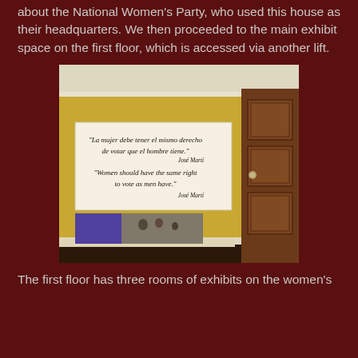about the National Women's Party, who used this house as their headquarters. We then proceeded to the main exhibit space on the first floor, which is accessed via another lift.
[Figure (photo): Interior room photo showing a yellow wall with a large white banner displaying a quote in Spanish and English attributed to José Martí: 'La mujer debe tener el mismo derecho de votar que el hombre tiene.' / 'Women should have the same right to vote as men have.' A wooden door is visible on the right side. A small display panel with purple and photographic sections is mounted lower on the wall.]
The first floor has three rooms of exhibits on the women's